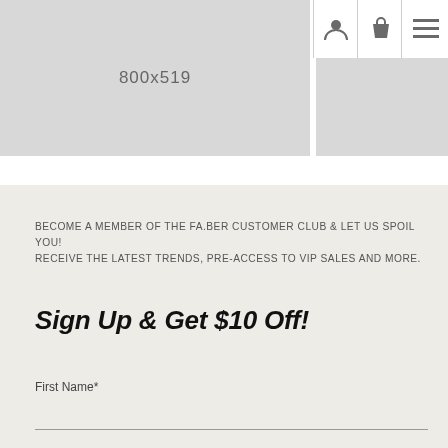[Figure (screenshot): Hero banner placeholder image showing dimensions 800x519]
[Figure (infographic): Navigation bar with user account icon, shopping bag icon, and hamburger menu icon]
BECOME A MEMBER OF THE FA.BER CUSTOMER CLUB & LET US SPOIL YOU!
RECEIVE THE LATEST TRENDS, PRE-ACCESS TO VIP SALES AND MORE.
Sign Up & Get $10 Off!
First Name*